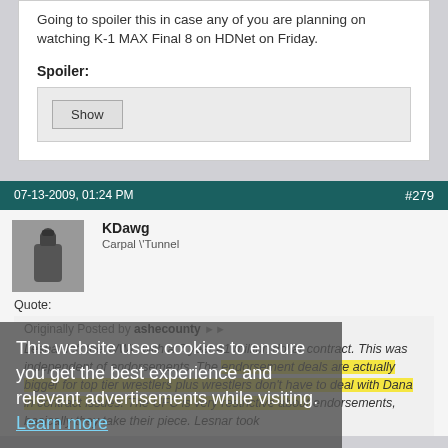Going to spoiler this in case any of you are planning on watching K-1 MAX Final 8 on HDNet on Friday.
Spoiler:
Show
07-13-2009, 01:24 PM    #279
KDawg
Carpal \Tunnel
Quote:
Originally Posted by ashecounty
Lesnar left the WWE with a 7 year 41 million dollar contract. This was independent of endorsements. The endorsement deals are actually bigger for top tier wrestlers plus wrestlers don't have to deal with Dana in contract issues. The UFC is very restrictive about endorsements, basically they take their piece. Lesnar took
This website uses cookies to ensure you get the best experience and relevant advertisements while visiting. Learn more  Got it!